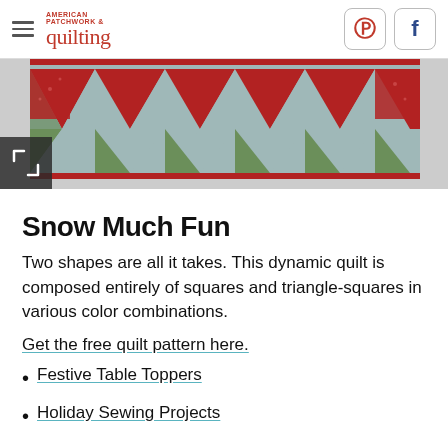American Patchwork & Quilting
[Figure (photo): A chevron/zigzag quilt runner displayed horizontally, with red, green, and grey/blue fabric in a dynamic triangular pattern.]
Snow Much Fun
Two shapes are all it takes. This dynamic quilt is composed entirely of squares and triangle-squares in various color combinations.
Get the free quilt pattern here.
Festive Table Toppers
Holiday Sewing Projects